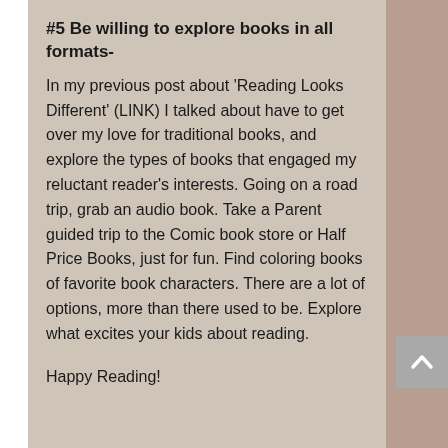#5 Be willing to explore books in all formats-
In my previous post about ‘Reading Looks Different’ (LINK) I talked about have to get over my love for traditional books, and explore the types of books that engaged my reluctant reader’s interests. Going on a road trip, grab an audio book. Take a Parent guided trip to the Comic book store or Half Price Books, just for fun. Find coloring books of favorite book characters. There are a lot of options, more than there used to be. Explore what excites your kids about reading.
Happy Reading!